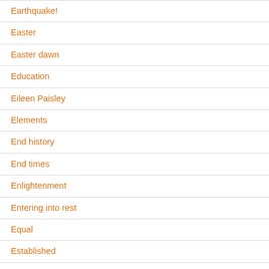Earthquake!
Easter
Easter dawn
Education
Eileen Paisley
Elements
End history
End times
Enlightenment
Entering into rest
Equal
Established